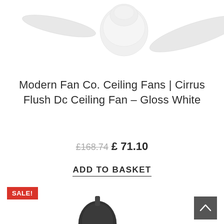[Figure (photo): Partial view of a white ceiling fan (Cirrus Flush DC Ceiling Fan in Gloss White) showing the motor housing and blades from below, white background]
Modern Fan Co. Ceiling Fans | Cirrus Flush Dc Ceiling Fan – Gloss White
£168.74 £ 71.10
ADD TO BASKET
SALE!
[Figure (photo): Partial view of a dark/black ceiling fan motor housing from below, beginning of a second product listing]